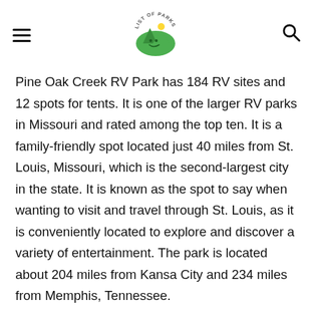List of Parks navigation header with hamburger menu, logo, and search icon
Pine Oak Creek RV Park has 184 RV sites and 12 spots for tents. It is one of the larger RV parks in Missouri and rated among the top ten. It is a family-friendly spot located just 40 miles from St. Louis, Missouri, which is the second-largest city in the state. It is known as the spot to say when wanting to visit and travel through St. Louis, as it is conveniently located to explore and discover a variety of entertainment. The park is located about 204 miles from Kansa City and 234 miles from Memphis, Tennessee.
Pine Oak Creek RV Park Weather